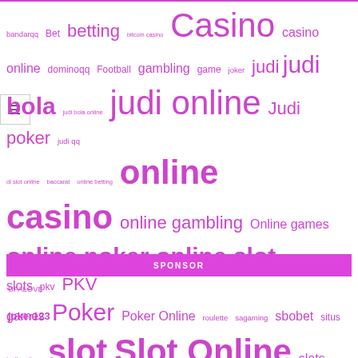[Figure (other): Tag cloud of gambling/casino related keywords in various pink/magenta font sizes]
SPONSOR
UFALOVE
joker123